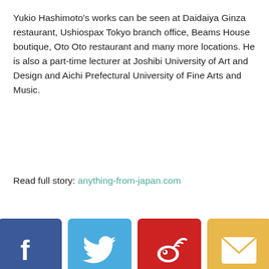Yukio Hashimoto's works can be seen at Daidaiya Ginza restaurant, Ushiospax Tokyo branch office, Beams House boutique, Oto Oto restaurant and many more locations. He is also a part-time lecturer at Joshibi University of Art and Design and Aichi Prefectural University of Fine Arts and Music.
Read full story: anything-from-japan.com
[Figure (infographic): Four social media sharing icons: Facebook (dark blue, f logo), Twitter (light blue, bird logo), Weibo (red, wifi-like logo), Email (yellow, envelope icon)]
Related Articles
[Figure (photo): Partial view of related article: Adorable Kitty-chan Kendama with Sanrio | Toy tags visible, against a blurred colorful background]
This website uses cookies.